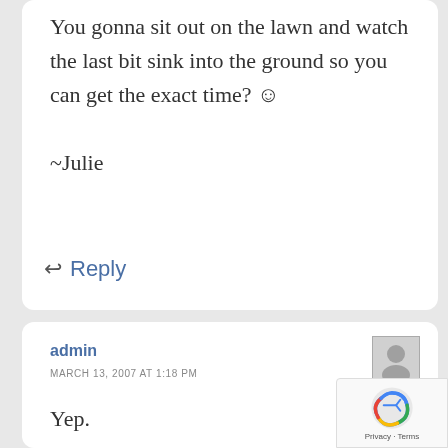You gonna sit out on the lawn and watch the last bit sink into the ground so you can get the exact time? ☺
~Julie
↩ Reply
admin
MARCH 13, 2007 AT 1:18 PM
Yep.

I'll take pictures, too.